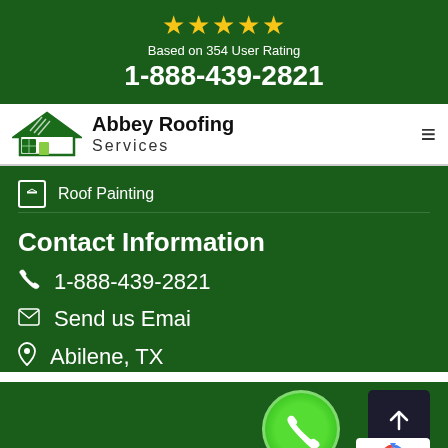[Figure (infographic): Five gold stars rating display with '1-888-439-2821' phone number on dark green background, text 'Based on 354 User Rating']
Based on 354 User Rating
1-888-439-2821
[Figure (logo): Abbey Roofing Services logo with green house/roof icon and company name]
Roof Painting
Contact Information
1-888-439-2821
Send us Emai
Abilene, TX